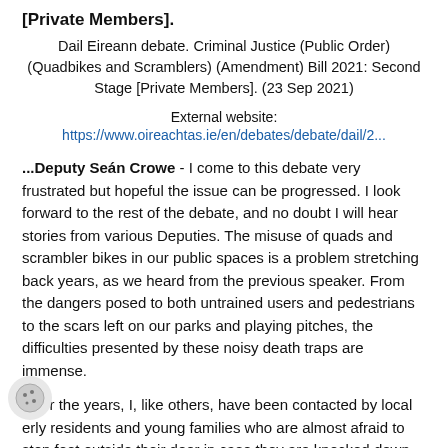[Private Members].
Dail Eireann debate. Criminal Justice (Public Order) (Quadbikes and Scramblers) (Amendment) Bill 2021: Second Stage [Private Members]. (23 Sep 2021)
External website:
https://www.oireachtas.ie/en/debates/debate/dail/2...
...Deputy Seán Crowe - I come to this debate very frustrated but hopeful the issue can be progressed. I look forward to the rest of the debate, and no doubt I will hear stories from various Deputies. The misuse of quads and scrambler bikes in our public spaces is a problem stretching back years, as we heard from the previous speaker. From the dangers posed to both untrained users and pedestrians to the scars left on our parks and playing pitches, the difficulties presented by these noisy death traps are immense.
Over the years, I, like others, have been contacted by local elderly residents and young families who are almost afraid to step foot outside their door in case they are knocked down by